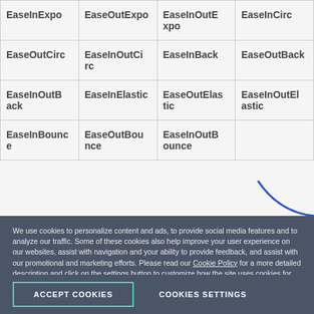| EaseInExpo | EaseOutExpo | EaseInOutExpo | EaseInCirc |
| EaseOutCirc | EaseInOutCirc | EaseInBack | EaseOutBack |
| EaseInOutBack | EaseInElastic | EaseOutElastic | EaseInOutElastic |
| EaseInBounce | EaseOutBounce | EaseInOutBounce |  |
We use cookies to personalize content and ads, to provide social media features and to analyze our traffic. Some of these cookies also help improve your user experience on our websites, assist with navigation and your ability to provide feedback, and assist with our promotional and marketing efforts. Please read our Cookie Policy for a more detailed description and click on the settings button to customize how the site uses cookies for you.
ACCEPT COOKIES   COOKIES SETTINGS